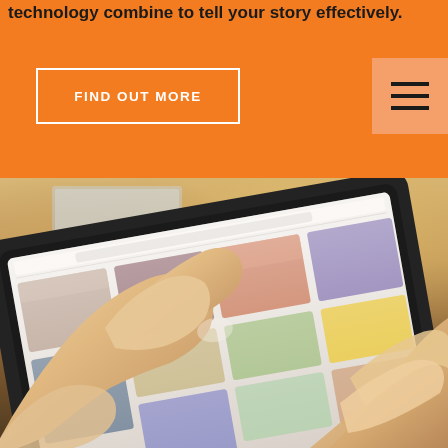technology combine to tell your story effectively.
FIND OUT MORE
[Figure (photo): Person using a tablet device showing a Pinterest-like grid of images, with a desktop monitor in the background on a desk]